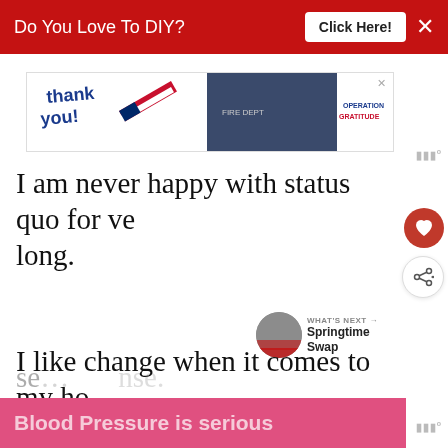Do You Love To DIY? Click Here!
[Figure (photo): Thank You Operation Gratitude advertisement banner with firefighters and patriotic pencil imagery]
I am never happy with status quo for very long.
I like change when it comes to my home decor and while I may not do much
Blood Pressure is serious